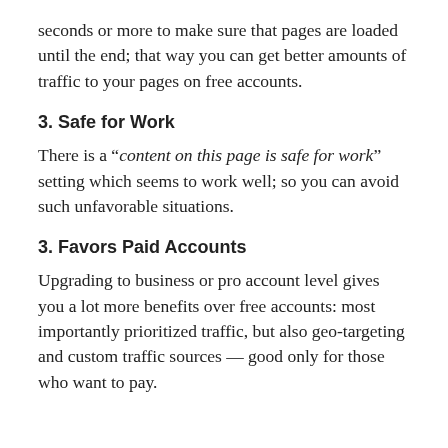seconds or more to make sure that pages are loaded until the end; that way you can get better amounts of traffic to your pages on free accounts.
3. Safe for Work
There is a “content on this page is safe for work” setting which seems to work well; so you can avoid such unfavorable situations.
3. Favors Paid Accounts
Upgrading to business or pro account level gives you a lot more benefits over free accounts: most importantly prioritized traffic, but also geo-targeting and custom traffic sources — good only for those who want to pay.